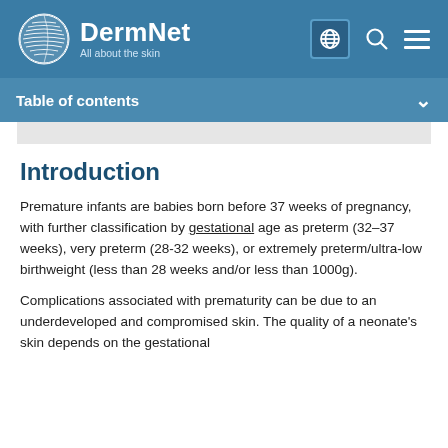DermNet — All about the skin
Table of contents
Introduction
Premature infants are babies born before 37 weeks of pregnancy, with further classification by gestational age as preterm (32–37 weeks), very preterm (28-32 weeks), or extremely preterm/ultra-low birthweight (less than 28 weeks and/or less than 1000g).
Complications associated with prematurity can be due to an underdeveloped and compromised skin. The quality of a neonate's skin depends on the gestational